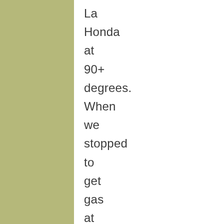La Honda at 90+ degrees. When we stopped to get gas at City of Shasta Lake, it was 109. We saought escape